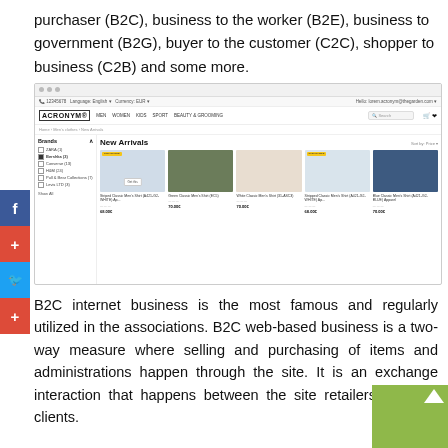purchaser (B2C), business to the worker (B2E), business to government (B2G), buyer to the customer (C2C), shopper to business (C2B) and some more.
[Figure (screenshot): Screenshot of an e-commerce website called ACRONYM showing a 'New Arrivals' product listing page with men's classic shirts. The page includes a navigation bar, product filters sidebar (Brands, Categories), and a grid of 5 shirt products with prices around 68.00-70.00.]
B2C internet business is the most famous and regularly utilized in the associations. B2C web-based business is a two-way measure where selling and purchasing of items and administrations happen through the site. It is an exchange interaction that happens between the site retailers and site clients.